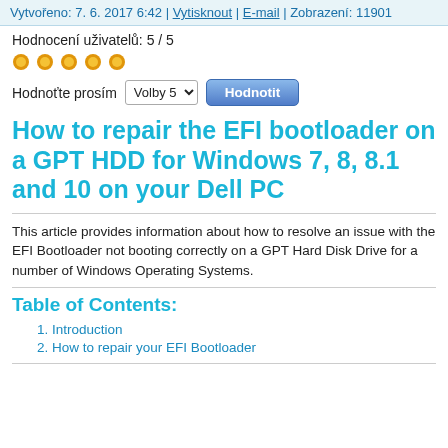Vytvořeno: 7. 6. 2017 6:42 | Vytisknout | E-mail | Zobrazení: 11901
Hodnocení uživatelů: 5 / 5
[Figure (other): Five orange filled circles representing a 5-star rating]
Hodnoťte prosím [Volby 5 dropdown] [Hodnotit button]
How to repair the EFI bootloader on a GPT HDD for Windows 7, 8, 8.1 and 10 on your Dell PC
This article provides information about how to resolve an issue with the EFI Bootloader not booting correctly on a GPT Hard Disk Drive for a number of Windows Operating Systems.
Table of Contents:
Introduction
How to repair your EFI Bootloader